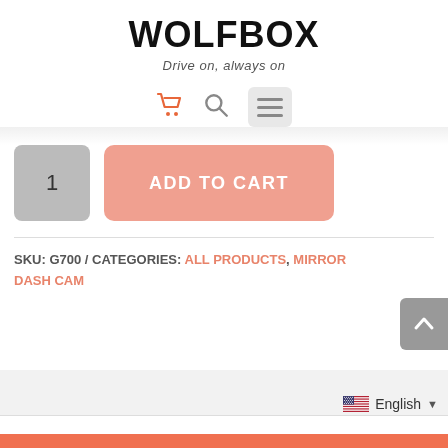WOLFBOX — Drive on, always on
[Figure (screenshot): Navigation icons: shopping cart (orange), search (gray), hamburger menu (gray background)]
1 ADD TO CART
SKU: G700 / CATEGORIES: ALL PRODUCTS, MIRROR DASH CAM
[Figure (screenshot): Scroll to top button (gray, chevron up arrow)]
English ▼